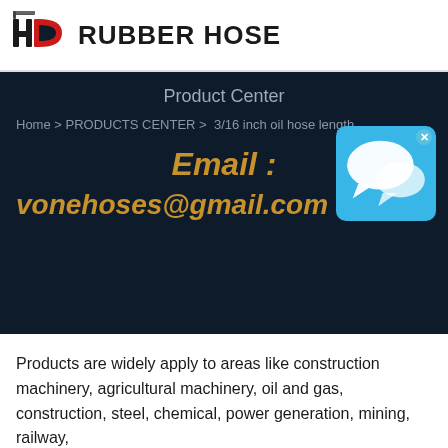[Figure (logo): HD Rubber Hose logo with red and black HD letters and hose graphic, followed by bold text RUBBER HOSE]
Product Center
Home > PRODUCTS CENTER > 3/16 inch oil hose length
Email : vonehoses@gmail.com
Products are widely apply to areas like construction machinery, agricultural machinery, oil and gas, construction, steel, chemical, power generation, mining, railway,